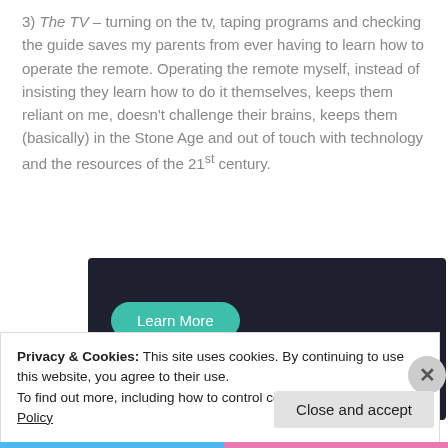3) The TV – turning on the tv, taping programs and checking the guide saves my parents from ever having to learn how to operate the remote. Operating the remote myself, instead of insisting they learn how to do it themselves, keeps them reliant on me, doesn't challenge their brains, keeps them (basically) in the Stone Age and out of touch with technology and the resources of the 21st century.
[Figure (other): Dark advertisement banner with a teal 'Learn More' button]
Privacy & Cookies: This site uses cookies. By continuing to use this website, you agree to their use.
To find out more, including how to control cookies, see here: Cookie Policy
Close and accept